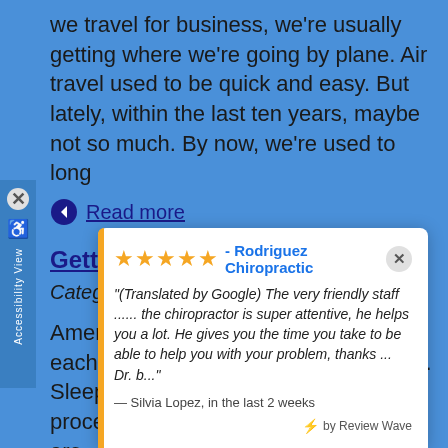we travel for business, we're usually getting where we're going by plane. Air travel used to be quick and easy. But lately, within the last ten years, maybe not so much. By now, we're used to long
Read more
Getting a Good Night's Sleep
Category: Newsletter Library, Healthy Tips
Americans spend more than $2 billion each year on sleep-aiding medications. Sleep is supposed to be a natural process. What's going on? There are many
[Figure (screenshot): Google review card overlay showing 5 stars for Rodriguez Chiropractic with a review by Silvia Lopez, in the last 2 weeks, powered by Review Wave]